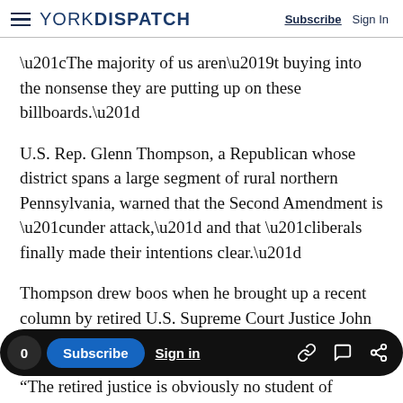YORK DISPATCH  Subscribe  Sign In
“The majority of us aren’t buying into the nonsense they are putting up on these billboards.”
U.S. Rep. Glenn Thompson, a Republican whose district spans a large segment of rural northern Pennsylvania, warned that the Second Amendment is “under attack,” and that “liberals finally made their intentions clear.”
Thompson drew boos when he brought up a recent column by retired U.S. Supreme Court Justice John Paul Stevens that argued that repealing the Second Amendment would make it
“The retired justice is obviously no student of